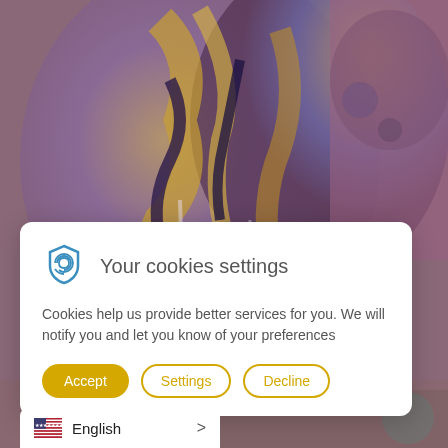[Figure (photo): Abstract expressionist painting with gold, purple, blue, and brown colors depicting a face-like form with dripping paint textures]
[Figure (infographic): Cookie consent dialog box with fingerprint/shield icon, title 'Your cookies settings', body text, and three buttons: Accept, Settings, Decline]
Your cookies settings
Cookies help us provide better services for you. We will notify you and let you know of your preferences
Accept
Settings
Decline
English >